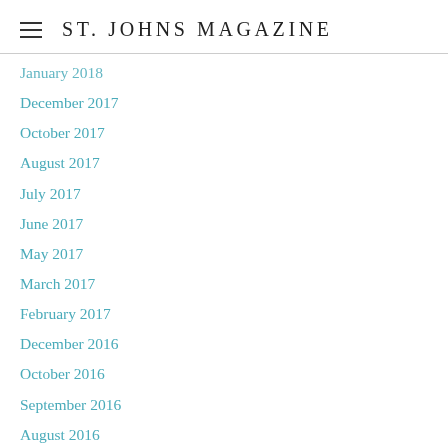ST. JOHNS MAGAZINE
January 2018
December 2017
October 2017
August 2017
July 2017
June 2017
May 2017
March 2017
February 2017
December 2016
October 2016
September 2016
August 2016
July 2016
May 2016
March 2016
February 2016
November 2015